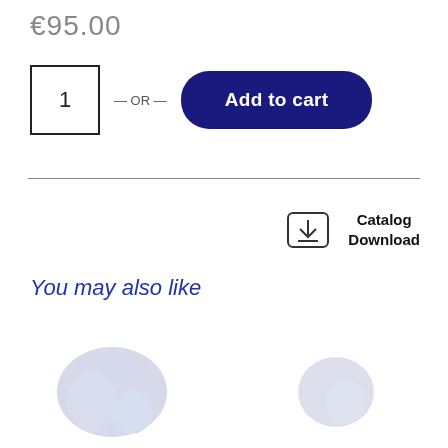€95.00
1  — OR —  Add to cart
Catalog Download
You may also like
[Figure (photo): Two faded product placeholder images at the bottom of the page]